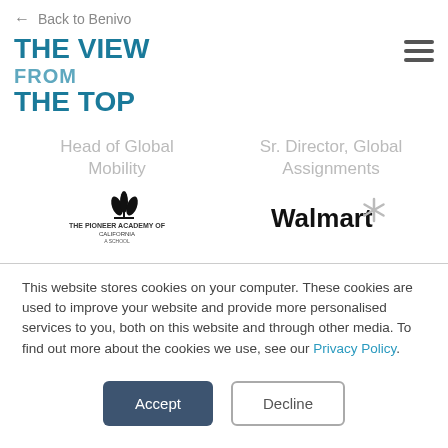← Back to Benivo
THE VIEW FROM THE TOP
Head of Global Mobility
Sr. Director, Global Assignments
[Figure (logo): Company logo with decorative leaf/crown icon and text]
[Figure (logo): Walmart logo with spark/asterisk icon]
This website stores cookies on your computer. These cookies are used to improve your website and provide more personalised services to you, both on this website and through other media. To find out more about the cookies we use, see our Privacy Policy.
Accept
Decline